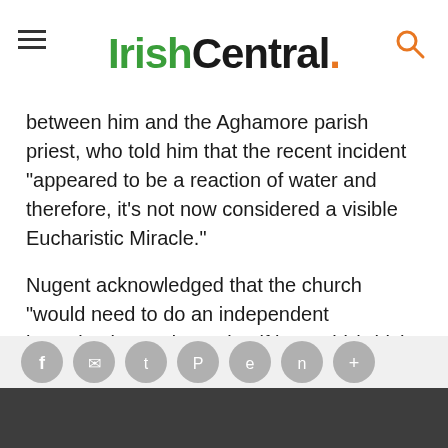IrishCentral.
between him and the Aghamore parish priest, who told him that the recent incident "appeared to be a reaction of water and therefore, it's not now considered a visible Eucharistic Miracle."
Nugent acknowledged that the church "would need to do an independent investigation to determine if it's mold (which can be red), or if it's a miracle," but said that the "phenomenon was real."
READ MORE
The apparition of Virgin Mary reported in Knock, Co Mayo in 1879
What mirac...